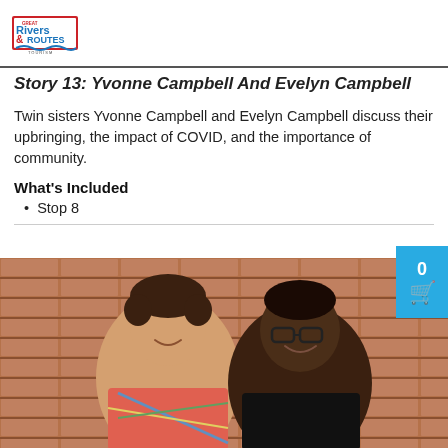[Figure (logo): Great Rivers & Routes Tourism logo — blue and red text with a wave graphic]
Story 13: Yvonne Campbell And Evelyn Campbell
Twin sisters Yvonne Campbell and Evelyn Campbell discuss their upbringing, the impact of COVID, and the importance of community.
What's Included
Stop 8
[Figure (photo): Two people smiling in front of a brick wall. On the left is a person with curly hair wearing a patterned/colorful hoodie. On the right is a person wearing glasses and a black outfit.]